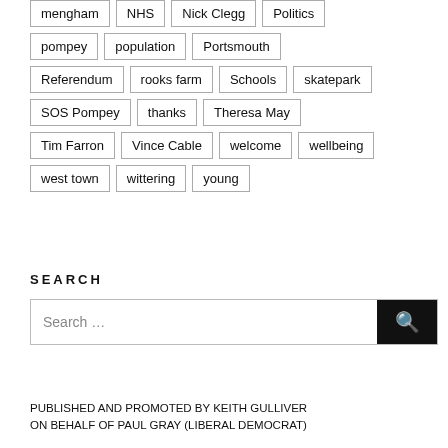mengham
NHS
Nick Clegg
Politics
pompey
population
Portsmouth
Referendum
rooks farm
Schools
skatepark
SOS Pompey
thanks
Theresa May
Tim Farron
Vince Cable
welcome
wellbeing
west town
wittering
young
SEARCH
Search …
PUBLISHED AND PROMOTED BY KEITH GULLIVER ON BEHALF OF PAUL GRAY (LIBERAL DEMOCRAT)